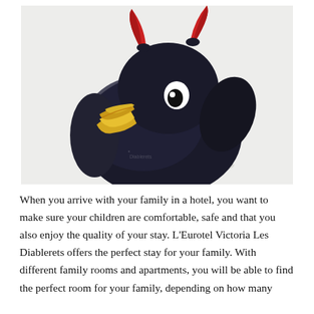[Figure (photo): A black rubber duck toy with red devil horns, a yellow beak, white and black eyes, and a small logo on the front, photographed against a white/light gray background.]
When you arrive with your family in a hotel, you want to make sure your children are comfortable, safe and that you also enjoy the quality of your stay. L'Eurotel Victoria Les Diablerets offers the perfect stay for your family. With different family rooms and apartments, you will be able to find the perfect room for your family, depending on how many